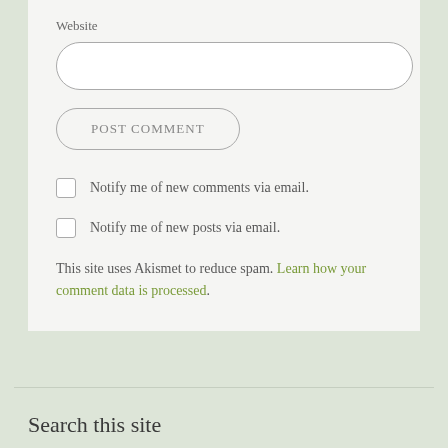Website
POST COMMENT
Notify me of new comments via email.
Notify me of new posts via email.
This site uses Akismet to reduce spam. Learn how your comment data is processed.
Search this site